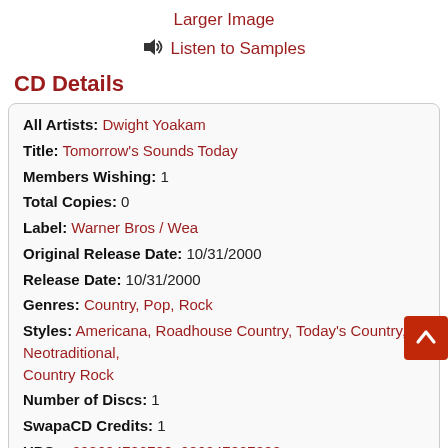Larger Image
Listen to Samples
CD Details
| All Artists: | Dwight Yoakam |
| Title: | Tomorrow's Sounds Today |
| Members Wishing: | 1 |
| Total Copies: | 0 |
| Label: | Warner Bros / Wea |
| Original Release Date: | 10/31/2000 |
| Release Date: | 10/31/2000 |
| Genres: | Country, Pop, Rock |
| Styles: | Americana, Roadhouse Country, Today's Country, Neotraditional, Country Rock |
| Number of Discs: | 1 |
| SwapaCD Credits: | 1 |
| UPCs: | 093624782728, 936247827288 |
Synopsis
Amazon.com essential recording
Though Dwight Yoakam is tagged with a well deserved (and in his case...